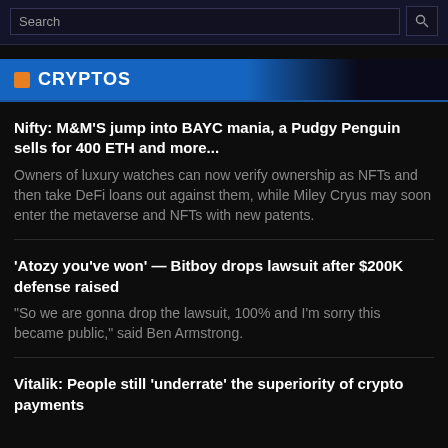Search
CRYPTOS
Nifty: M&M'S jump into BAYC mania, a Pudgy Penguin sells for 400 ETH and more...
Owners of luxury watches can now verify ownership as NFTs and then take DeFi loans out against them, while Miley Cryus may soon enter the metaverse and NFTs with new patents.
'Atozy you've won' — Bitboy drops lawsuit after $200K defense raised
“So we are gonna drop the lawsuit, 100% and I'm sorry this became public,” said Ben Armstrong.
Vitalik: People still 'underrate' the superiority of crypto payments